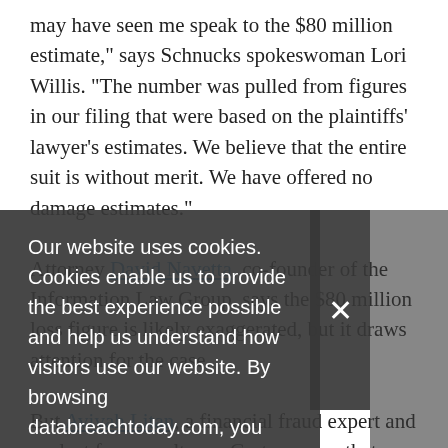may have seen me speak to the $80 million estimate," says Schnucks spokeswoman Lori Willis. "The number was pulled from figures in our filing that were based on the plaintiffs' lawyer's estimates. We believe that the entire suit is without merit. We have offered no damage estimates."
Attorney David Navetta, co-founder of the Information Law Group, says the $80 million loss figure is likely exaggerated, but it draws attention for the case.
But Avivah Litan, a financial fraud expert and analyst for consultancy Gartner, says that figure could be a good estimate, depending on the number of cards actually compromised. "Something like 10 percent of breached cards are actually used for fraudulent transactions after they are compromised," she says. "And the average amount of loss just for the fraud is about $700 per card."
Our website uses cookies. Cookies enable us to provide the best experience possible and help us understand how visitors use our website. By browsing databreachtoday.com, you agree to our use of cookies.